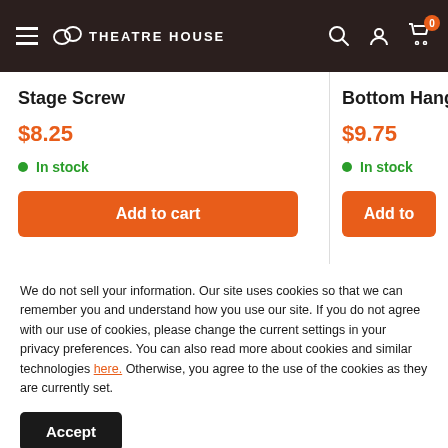Theatre House
Stage Screw
$8.25
In stock
Bottom Hanger Iron
$9.75
In stock
We do not sell your information. Our site uses cookies so that we can remember you and understand how you use our site. If you do not agree with our use of cookies, please change the current settings in your privacy preferences. You can also read more about cookies and similar technologies here. Otherwise, you agree to the use of the cookies as they are currently set.